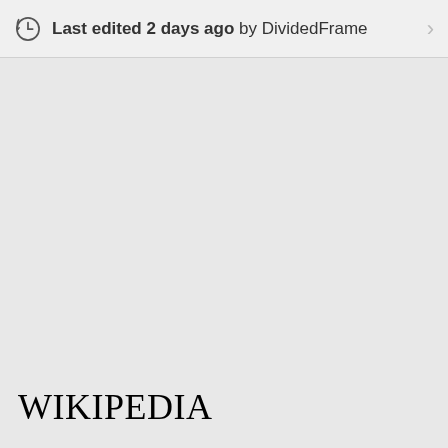Last edited 2 days ago by DividedFrame
Wikipedia